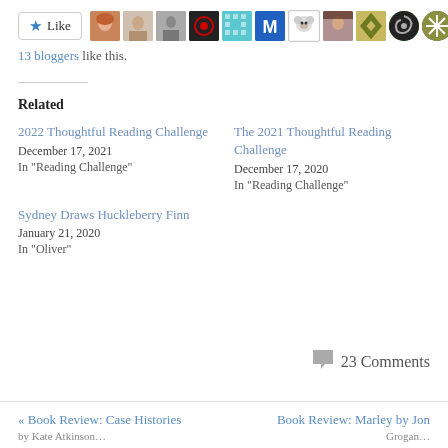[Figure (other): Like button with star icon followed by a row of 12 blogger avatar thumbnails]
13 bloggers like this.
Related
2022 Thoughtful Reading Challenge
December 17, 2021
In "Reading Challenge"
The 2021 Thoughtful Reading Challenge
December 17, 2020
In "Reading Challenge"
Sydney Draws Huckleberry Finn
January 21, 2020
In "Oliver"
💬 23 Comments
« Book Review: Case Histories    Book Review: Marley by Jon